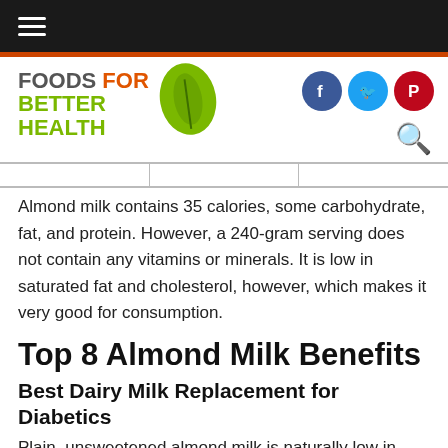Foods For Better Health (hamburger menu navigation bar)
[Figure (logo): Foods For Better Health logo with green leaf icon and social media icons (Facebook, Twitter, Pinterest) and search icon]
Almond milk contains 35 calories, some carbohydrate, fat, and protein. However, a 240-gram serving does not contain any vitamins or minerals. It is low in saturated fat and cholesterol, however, which makes it very good for consumption.
Top 8 Almond Milk Benefits
Best Dairy Milk Replacement for Diabetics
Plain, unsweetened almond milk is naturally low in sugar. In fact, you'll find just one to two grams of carbs